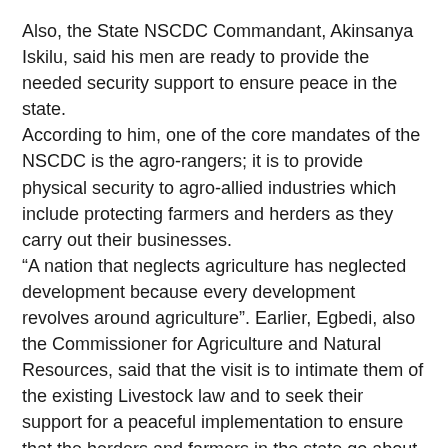Also, the State NSCDC Commandant, Akinsanya Iskilu, said his men are ready to provide the needed security support to ensure peace in the state.
According to him, one of the core mandates of the NSCDC is the agro-rangers; it is to provide physical security to agro-allied industries which include protecting farmers and herders as they carry out their businesses.
“A nation that neglects agriculture has neglected development because every development revolves around agriculture”. Earlier, Egbedi, also the Commissioner for Agriculture and Natural Resources, said that the visit is to intimate them of the existing Livestock law and to seek their support for a peaceful implementation to ensure that the herders and farmers in the state go about their businesses without conflict.